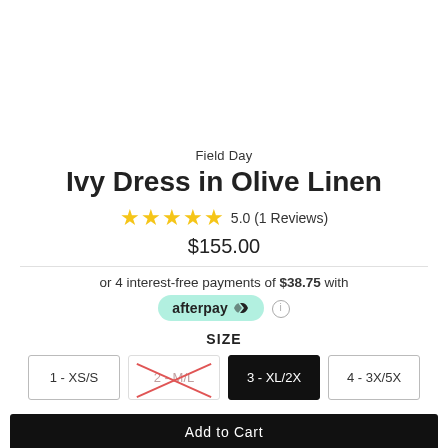Field Day
Ivy Dress in Olive Linen
5.0 (1 Reviews)
$155.00
or 4 interest-free payments of $38.75 with afterpay
SIZE
1 - XS/S
2 - M/L (unavailable)
3 - XL/2X (selected)
4 - 3X/5X
Add to Cart